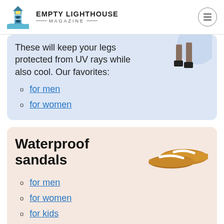EMPTY LIGHTHOUSE MAGAZINE
These will keep your legs protected from UV rays while also cool. Our favorites:
for men
for women
Waterproof sandals
for men
for women
for kids